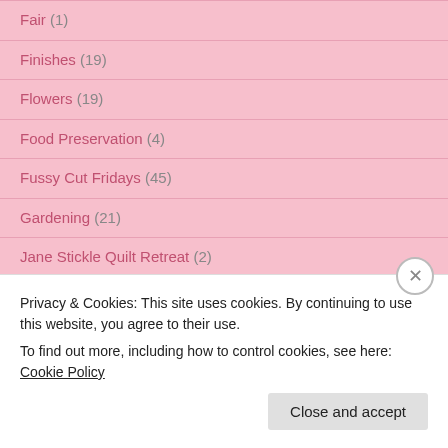Fair (1)
Finishes (19)
Flowers (19)
Food Preservation (4)
Fussy Cut Fridays (45)
Gardening (21)
Jane Stickle Quilt Retreat (2)
Milk Truck (1)
Nature (9)
One Lovely Blog Award (1)
Parade of the Kokopellis (1)
Privacy & Cookies: This site uses cookies. By continuing to use this website, you agree to their use. To find out more, including how to control cookies, see here: Cookie Policy